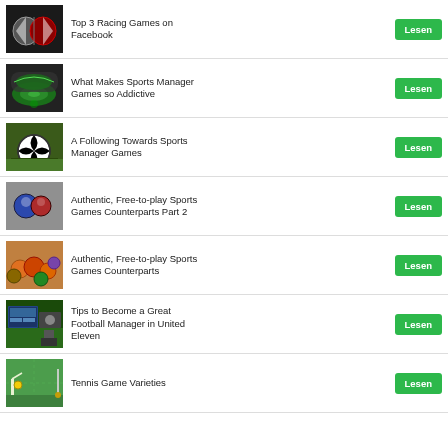Top 3 Racing Games on Facebook
What Makes Sports Manager Games so Addictive
A Following Towards Sports Manager Games
Authentic, Free-to-play Sports Games Counterparts Part 2
Authentic, Free-to-play Sports Games Counterparts
Tips to Become a Great Football Manager in United Eleven
Tennis Game Varieties